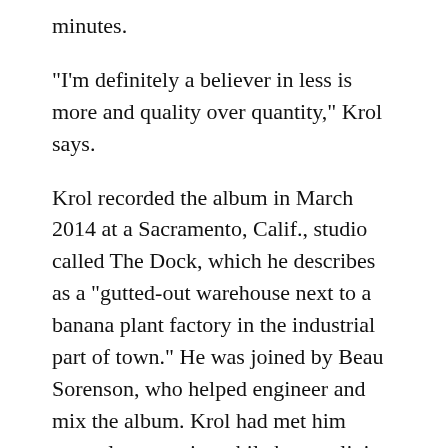minutes.
“I’m definitely a believer in less is more and quality over quantity,” Krol says.
Krol recorded the album in March 2014 at a Sacramento, Calif., studio called The Dock, which he describes as a “gutted-out warehouse next to a banana plant factory in the industrial part of town.” He was joined by Beau Sorenson, who helped engineer and mix the album. Krol had met him several years prior while he was living in Madison. They recorded the album on two-inch tape and mixed it by hand.
“We would record the songs and go back and hit